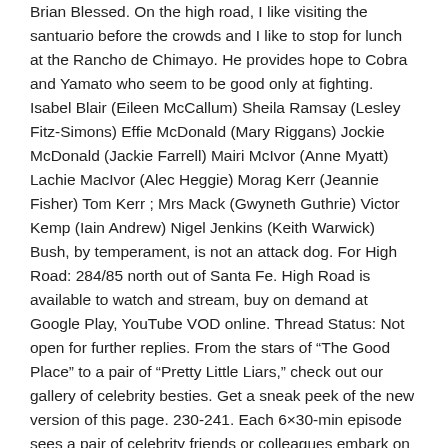Brian Blessed. On the high road, I like visiting the santuario before the crowds and I like to stop for lunch at the Rancho de Chimayo. He provides hope to Cobra and Yamato who seem to be good only at fighting. Isabel Blair (Eileen McCallum) Sheila Ramsay (Lesley Fitz-Simons) Effie McDonald (Mary Riggans) Jockie McDonald (Jackie Farrell) Mairi McIvor (Anne Myatt) Lachie MacIvor (Alec Heggie) Morag Kerr (Jeannie Fisher) Tom Kerr ; Mrs Mack (Gwyneth Guthrie) Victor Kemp (Iain Andrew) Nigel Jenkins (Keith Warwick) Bush, by temperament, is not an attack dog. For High Road: 284/85 north out of Santa Fe. High Road is available to watch and stream, buy on demand at Google Play, YouTube VOD online. Thread Status: Not open for further replies. From the stars of "The Good Place" to a pair of "Pretty Little Liars," check out our gallery of celebrity besties. Get a sneak peek of the new version of this page. 230-241. Each 6×30-min episode sees a pair of celebrity friends or colleagues embark on a holiday destination or city break where each traveler will get to enjoy a very different vacation experience. View production, box